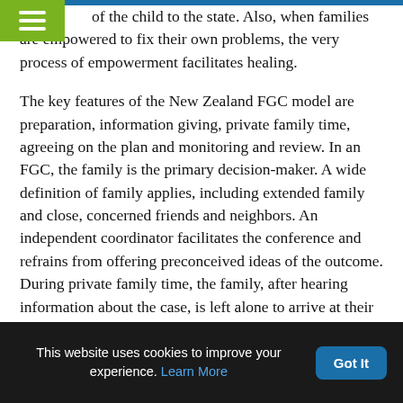of the child to the state. Also, when families are empowered to fix their own problems, the very process of empowerment facilitates healing.
The key features of the New Zealand FGC model are preparation, information giving, private family time, agreeing on the plan and monitoring and review. In an FGC, the family is the primary decision-maker. A wide definition of family applies, including extended family and close, concerned friends and neighbors. An independent coordinator facilitates the conference and refrains from offering preconceived ideas of the outcome. During private family time, the family, after hearing information about the case, is left alone to arrive at their own plan for the future of the child, youth or adult. The plan is evaluated by professionals with
This website uses cookies to improve your experience. Learn More